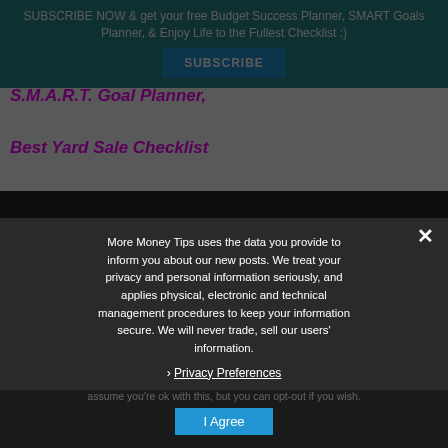SUBSCRIBE NOW & get your free Budget Success Planner, SMART Goals Planner, & Enjoy Life to the Fullest Checklist :)
SUBSCRIBE
S.M.A.R.T. Goal Planner,
Best Yard Sale Checklist
Budget Success Planner
More Money Tips uses the data you provide to inform you about our new posts. We treat your privacy and personal information seriously, and applies physical, electronic and technical management procedures to keep your information secure. We will never trade, sell our users' information.
Privacy Preferences
This website uses cookies to improve your experience. We'll assume you're ok with this, but you can opt-out if you wish.
I Agree